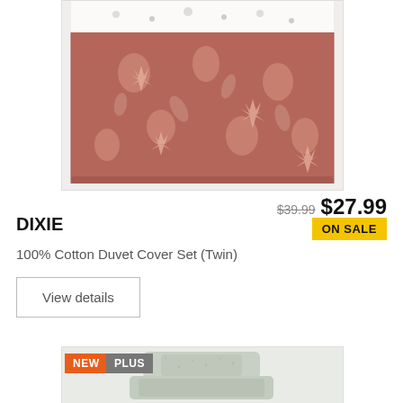[Figure (photo): Terracotta/dusty rose floral print duvet cover set, folded and displayed from above, with white floral top edge visible]
$39.99 $27.99
ON SALE
DIXIE
100% Cotton Duvet Cover Set (Twin)
View details
NEW
PLUS
[Figure (photo): Green/sage speckled pattern duvet cover set with pillows, folded and stacked, displayed on light grey background]